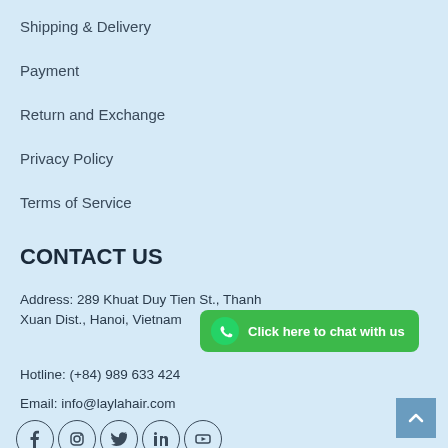Shipping & Delivery
Payment
Return and Exchange
Privacy Policy
Terms of Service
CONTACT US
Address: 289 Khuat Duy Tien St., Thanh Xuan Dist., Hanoi, Vietnam
[Figure (other): WhatsApp chat button — green rounded rectangle with WhatsApp icon and text 'Click here to chat with us']
Hotline: (+84) 989 633 424
Email: info@laylahair.com
[Figure (other): Social media icons row: Facebook, Instagram, Twitter, LinkedIn, YouTube — outlined circles]